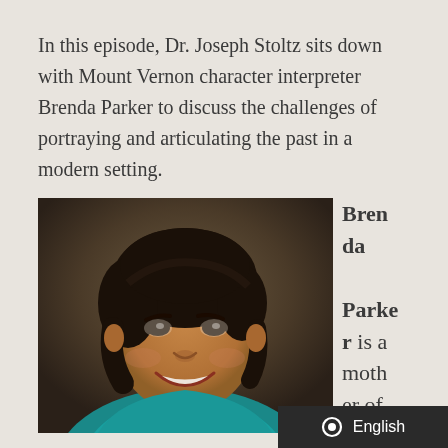In this episode, Dr. Joseph Stoltz sits down with Mount Vernon character interpreter Brenda Parker to discuss the challenges of portraying and articulating the past in a modern setting.
[Figure (photo): Headshot of Brenda Parker, a woman smiling warmly, wearing a teal top, with dark shoulder-length hair, against a dark background.]
Brenda Parker is a mother of four and happi
English